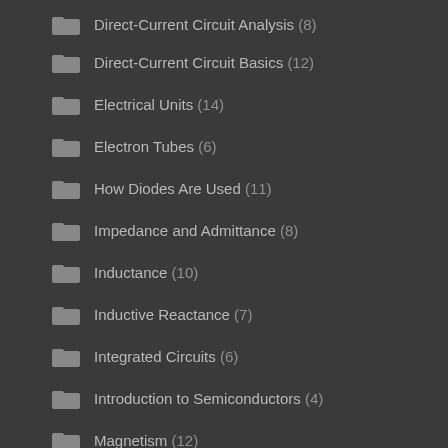Direct-Current Circuit Analysis (8)
Direct-Current Circuit Basics (12)
Electrical Units (14)
Electron Tubes (6)
How Diodes Are Used (11)
Impedance and Admittance (8)
Inductance (10)
Inductive Reactance (7)
Integrated Circuits (6)
Introduction to Semiconductors (4)
Magnetism (12)
Measuring Devices (17)
Monitoring, Robotics, and Artificial Intelligence (6)